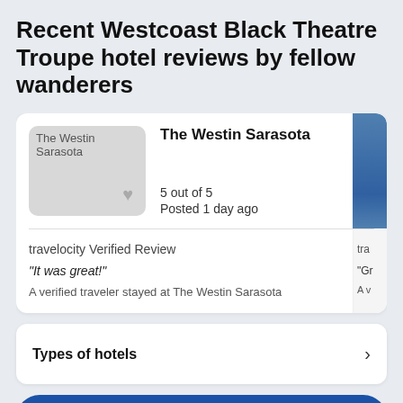Recent Westcoast Black Theatre Troupe hotel reviews by fellow wanderers
[Figure (screenshot): Hotel review card for The Westin Sarasota showing a broken image placeholder, hotel name, rating of 5 out of 5, posted 1 day ago, travelocity Verified Review, quote 'It was great!', and 'A verified traveler stayed at The Westin Sarasota'. Partially visible second card on the right edge.]
Types of hotels
Choose your dates